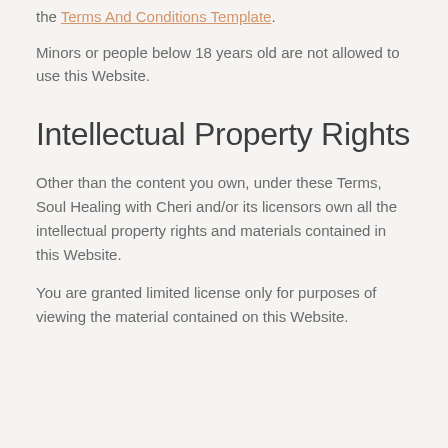the Terms And Conditions Template.
Minors or people below 18 years old are not allowed to use this Website.
Intellectual Property Rights
Other than the content you own, under these Terms, Soul Healing with Cheri and/or its licensors own all the intellectual property rights and materials contained in this Website.
You are granted limited license only for purposes of viewing the material contained on this Website.